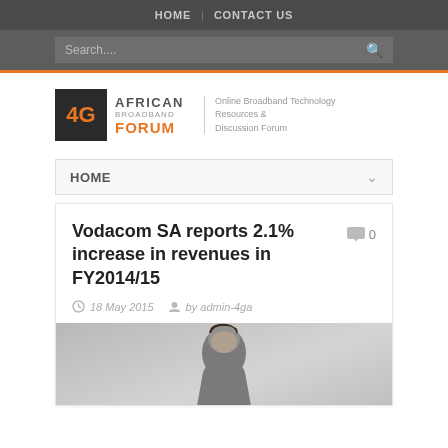HOME | CONTACT US
Search...
[Figure (logo): 4G African Broadband Forum logo with tagline: Online Broadband Technology Resources & Discussion Forum]
HOME
Vodacom SA reports 2.1% increase in revenues in FY2014/15
0
18 May 2015  by admin-4ga
[Figure (photo): Partial photo of a person, cropped at the bottom of the page]